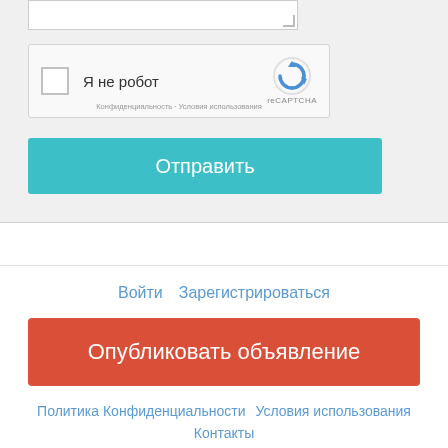[Figure (screenshot): reCAPTCHA widget with checkbox and 'Я не робот' label, with reCAPTCHA logo]
Отправить
Войти   Зарегистрироваться
Опубликовать объявление
Политика Конфиденциальности   Условия использования
Контакты